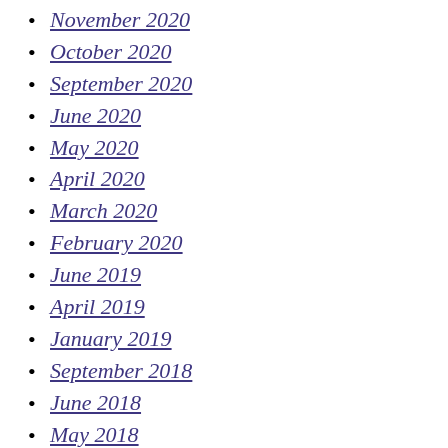November 2020
October 2020
September 2020
June 2020
May 2020
April 2020
March 2020
February 2020
June 2019
April 2019
January 2019
September 2018
June 2018
May 2018
March 2018
February 2018
January 2018
December 2017
November 2017
August 2017